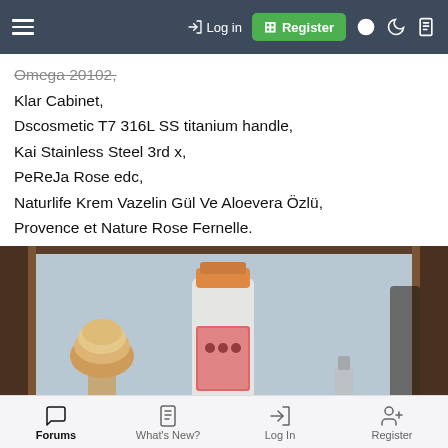Log in | Register
Omega 20102,
Klar Cabinet,
Dscosmetic T7 316L SS titanium handle,
Kai Stainless Steel 3rd x,
PeReJa Rose edc,
Naturlife Krem Vazelin Gül Ve Aloevera Özlü,
Provence et Nature Rose Fernelle.
[Figure (photo): Shaving setup on a bathroom shelf: a shaving brush with natural bristles on the left, a bottle of Old Spice or similar product with an orange cap in the center, and a razor handle on the right, all in front of a mirror with a light blue background.]
Forums | What's New? | Log In | Register